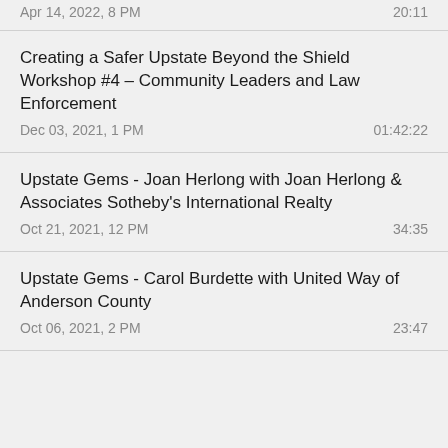Apr 14, 2022, 8 PM   20:11
Creating a Safer Upstate Beyond the Shield Workshop #4 – Community Leaders and Law Enforcement
Dec 03, 2021, 1 PM   01:42:22
Upstate Gems - Joan Herlong with Joan Herlong & Associates Sotheby's International Realty
Oct 21, 2021, 12 PM   34:35
Upstate Gems - Carol Burdette with United Way of Anderson County
Oct 06, 2021, 2 PM   23:47